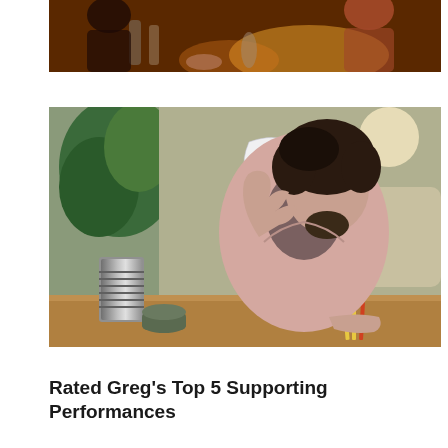[Figure (photo): Partial photo at top showing people at what appears to be a bar or restaurant with warm orange/red lighting]
[Figure (photo): Man with curly dark hair and beard wearing a pink blazer over a dark turtleneck, sitting at a table, gesturing with one hand while holding papers, with plants and a metallic coffee pot visible in the background]
Rated Greg’s Top 5 Supporting Performances